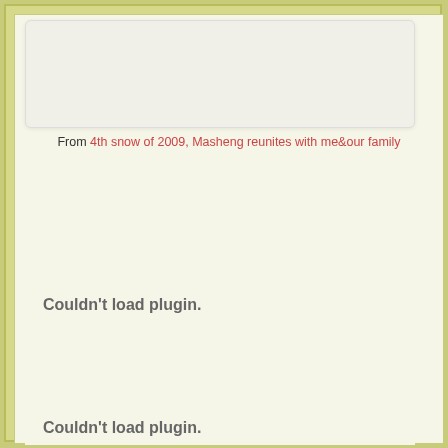[Figure (photo): A partially visible image placeholder at the top of the page, appearing as a white/light box with faint content]
From 4th snow of 2009, Masheng reunites with me&our family
Couldn't load plugin.
Couldn't load plugin.